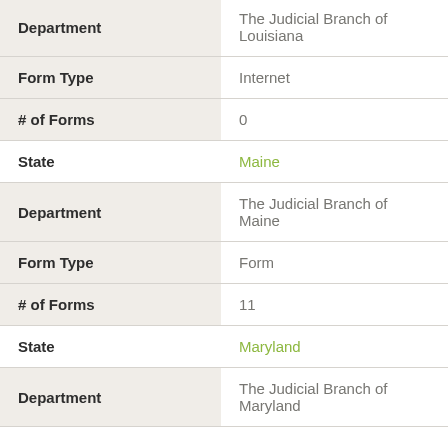| Field | Value |
| --- | --- |
| Department | The Judicial Branch of Louisiana |
| Form Type | Internet |
| # of Forms | 0 |
| State | Maine |
| Department | The Judicial Branch of Maine |
| Form Type | Form |
| # of Forms | 11 |
| State | Maryland |
| Department | The Judicial Branch of Maryland |